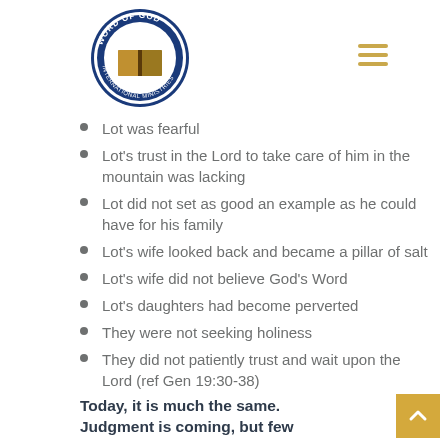[Figure (logo): Word of God International Ministries circular logo with blue border, white dove, and open Bible in center]
Lot was fearful
Lot's trust in the Lord to take care of him in the mountain was lacking
Lot did not set as good an example as he could have for his family
Lot's wife looked back and became a pillar of salt
Lot's wife did not believe God's Word
Lot's daughters had become perverted
They were not seeking holiness
They did not patiently trust and wait upon the Lord (ref Gen 19:30-38)
Today, it is much the same. Judgment is coming, but few